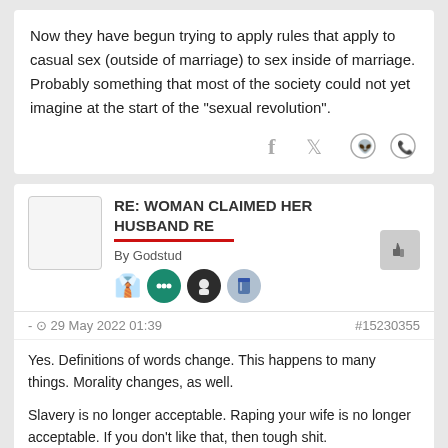Now they have begun trying to apply rules that apply to casual sex (outside of marriage) to sex inside of marriage. Probably something that most of the society could not yet imagine at the start of the "sexual revolution".
[Figure (infographic): Social share icons: Facebook, Twitter, Reddit, WhatsApp]
RE: WOMAN CLAIMED HER HUSBAND RE
By Godstud
[Figure (infographic): User badges: red tie icon, teal circle with dots, dark circle with face, blue cylinder icon]
- 29 May 2022 01:39   #15230355
Yes. Definitions of words change. This happens to many things. Morality changes, as well.

Slavery is no longer acceptable. Raping your wife is no longer acceptable. If you don't like that, then tough shit.

You have no argument.